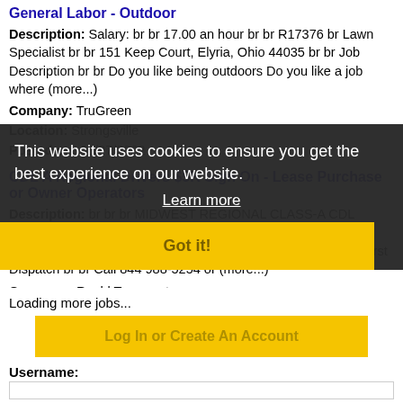General Labor - Outdoor
Description: Salary: br br 17.00 an hour br br R17376 br Lawn Specialist br br 151 Keep Court, Elyria, Ohio 44035 br br Job Description br br Do you like being outdoors Do you like a job where (more...)
Company: TruGreen
Location: Strongsville
Posted on: 08/27/2022
CDL A Regional Drivers $5K Sign On - Lease Purchase or Owner Operators
Description: br br br MIDWEST REGIONAL CLASS-A CDL LEASE-PURCHASE INDEPENDENT CONTRACTOR br br Eligible for 5,000 Sign-On Bonus Paid Out Within 30 Days of First Dispatch br br Call 844 988-5254 or (more...)
Company: Roehl Transport
Location: ...
Posted on: 08/27/2022
Loading more jobs...
This website uses cookies to ensure you get the best experience on our website.
Learn more
Got it!
Log In or Create An Account
Username: